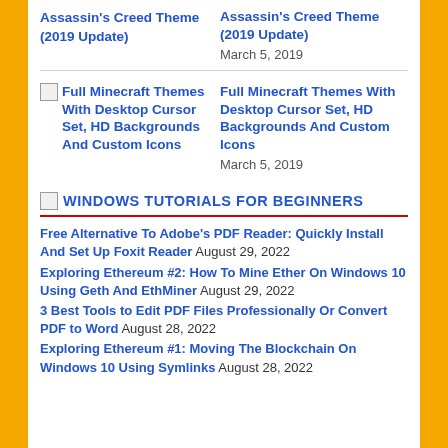Assassin's Creed Theme (2019 Update)
Assassin's Creed Theme (2019 Update) March 5, 2019
Full Minecraft Themes With Desktop Cursor Set, HD Backgrounds And Custom Icons
Full Minecraft Themes With Desktop Cursor Set, HD Backgrounds And Custom Icons March 5, 2019
RSS WINDOWS TUTORIALS FOR BEGINNERS
Free Alternative To Adobe's PDF Reader: Quickly Install And Set Up Foxit Reader August 29, 2022
Exploring Ethereum #2: How To Mine Ether On Windows 10 Using Geth And EthMiner August 29, 2022
3 Best Tools to Edit PDF Files Professionally Or Convert PDF to Word August 28, 2022
Exploring Ethereum #1: Moving The Blockchain On Windows 10 Using Symlinks August 28, 2022